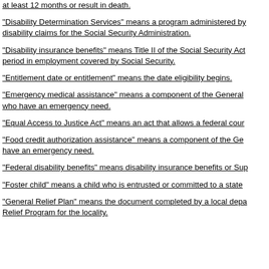at least 12 months or result in death.
"Disability Determination Services" means a program administered by disability claims for the Social Security Administration.
"Disability insurance benefits" means Title II of the Social Security Act period in employment covered by Social Security.
"Entitlement date or entitlement" means the date eligibility begins.
"Emergency medical assistance" means a component of the General who have an emergency need.
"Equal Access to Justice Act" means an act that allows a federal cour
"Food credit authorization assistance" means a component of the Ge have an emergency need.
"Federal disability benefits" means disability insurance benefits or Sup
"Foster child" means a child who is entrusted or committed to a state
"General Relief Plan" means the document completed by a local depa Relief Program for the locality.